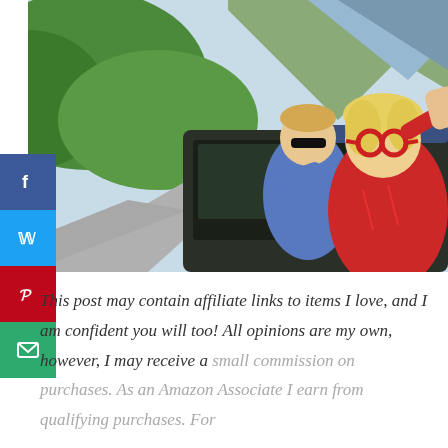[Figure (photo): Two children leaning out of a car window on a mountain road. A girl with blonde hair and red sunglasses in a red sweater reaches her arm out, and a younger boy with dark sunglasses in a blue top leans out of the window behind her. Green forested hills and mountains are visible in the background.]
This post may contain affiliate links to items I love, and I am confident you will too! All opinions are my own, however, I may receive a small commission on purchases. As an Amazon Associate I earn from qualifying purchases. For